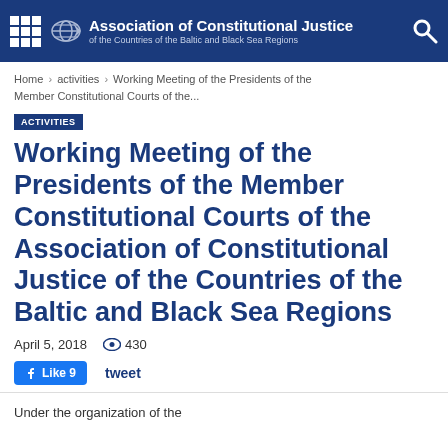Association of Constitutional Justice of the Countries of the Baltic and Black Sea Regions
Home › activities › Working Meeting of the Presidents of the Member Constitutional Courts of the...
ACTIVITIES
Working Meeting of the Presidents of the Member Constitutional Courts of the Association of Constitutional Justice of the Countries of the Baltic and Black Sea Regions
April 5, 2018  430
Like 9  tweet
Under the organization of the